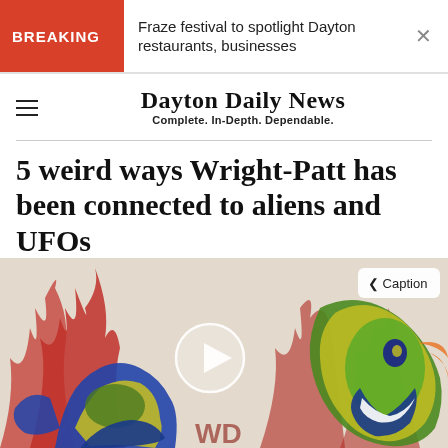BREAKING — Fraze festival to spotlight Dayton restaurants, businesses
Dayton Daily News
Complete. In-Depth. Dependable.
5 weird ways Wright-Patt has been connected to aliens and UFOs
[Figure (photo): A colorful mural painted on a white brick wall depicting alien/monster creatures in yellow, green, and blue with red flame-like elements. A circular video play button is overlaid in the center. A 'Caption' button appears in the top right of the image.]